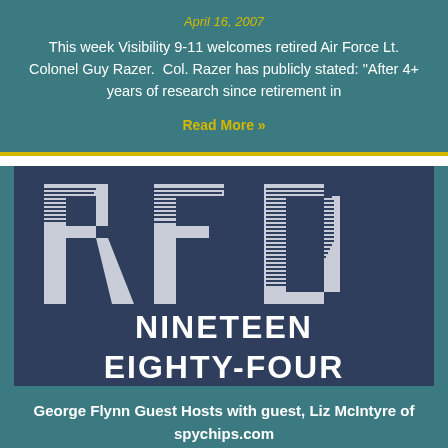April 16, 2007
This week Visibility 9-11 welcomes retired Air Force Lt. Colonel Guy Razer. Col. Razer has publicly stated: "After 4+ years of research since retirement in
Read More »
[Figure (logo): RFD Nineteen Eighty-Four logo on dark navy background with striped letter design]
George Flynn Guest Hosts with guest, Liz McIntyre of spychips.com